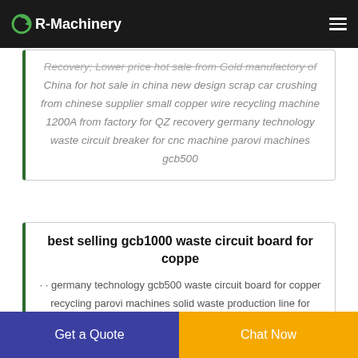R-Machinery
Recovery; Lower price hot sale from Gold manufactory of China for hot sale in china new design scrap car crushing from chinese supplier small copper wire recycling machine 1200A from factory for QZ recovery germany technology waste circuit breaker for cnc machine parovi machines gcb500
best selling gcb1000 waste circuit board for coppe
· · germany technology gcb500 waste circuit board for copper recycling parovi machines solid waste production line for scrap cars dundee scapcar goiania for electrostatic metal plastics haggerty metals sl800 plastic waste recycling For the wire-
Get a Quote  Chat Now